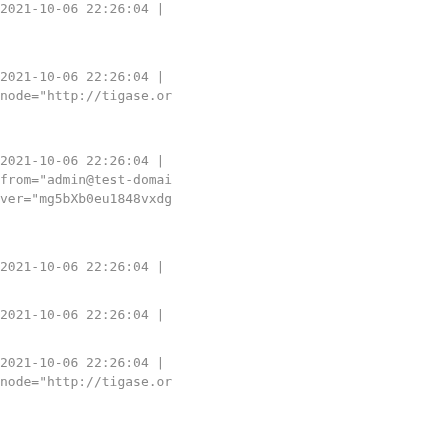2021-10-06 22:26:04 |
2021-10-06 22:26:04 |
node="http://tigase.or
2021-10-06 22:26:04 |
from="admin@test-domai
ver="mg5bXb0eu1848vxdg
2021-10-06 22:26:04 |
2021-10-06 22:26:04 |
2021-10-06 22:26:04 |
node="http://tigase.or
2021-10-06 22:26:04 |
from="admin@test-domai
ver="mg5bXb0eu1848vxdg
2021-10-06 22:26:04 |
2021-10-06 22:26:04 |
2021-10-06 22:26:04 |
node="http://tigase.or